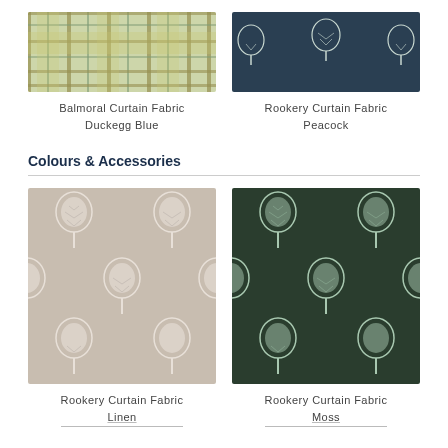[Figure (photo): Balmoral Curtain Fabric in Duckegg Blue – a plaid/tartan pattern with yellow, green, and blue tones]
Balmoral Curtain Fabric
Duckegg Blue
[Figure (photo): Rookery Curtain Fabric in Peacock – dark navy/teal background with white tree motif prints]
Rookery Curtain Fabric
Peacock
Colours & Accessories
[Figure (photo): Rookery Curtain Fabric in Linen – light beige/taupe background with white tree motif prints]
Rookery Curtain Fabric
Linen
[Figure (photo): Rookery Curtain Fabric in Moss – dark green background with light green/white tree motif prints]
Rookery Curtain Fabric
Moss